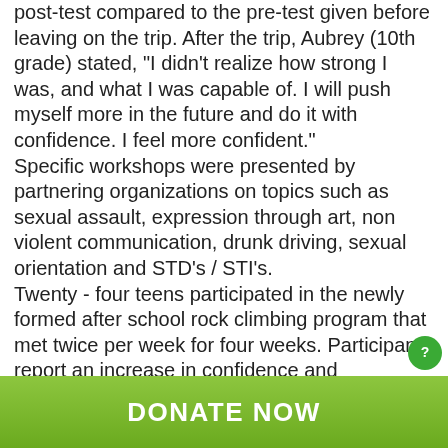post-test compared to the pre-test given before leaving on the trip. After the trip, Aubrey (10th grade) stated, "I didn't realize how strong I was, and what I was capable of. I will push myself more in the future and do it with confidence. I feel more confident." Specific workshops were presented by partnering organizations on topics such as sexual assault, expression through art, non violent communication, drunk driving, sexual orientation and STD's / STI's. Twenty - four teens participated in the newly formed after school rock climbing program that met twice per week for four weeks. Participants report an increase in confidence and perseverance as well as social skills and a greater sense of community among the youth participants.
DONATE NOW